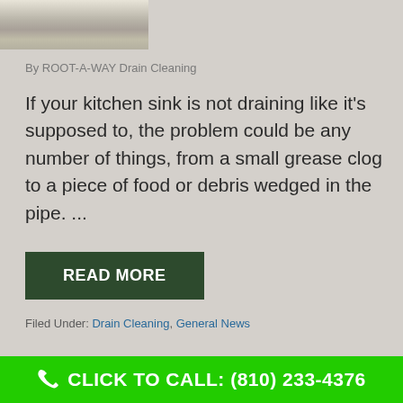[Figure (photo): Partial photo of a kitchen sink with water and drain, shown at top of page.]
By ROOT-A-WAY Drain Cleaning
If your kitchen sink is not draining like it's supposed to, the problem could be any number of things, from a small grease clog to a piece of food or debris wedged in the pipe. ...
READ MORE
Filed Under: Drain Cleaning, General News
CLICK TO CALL: (810) 233-4376